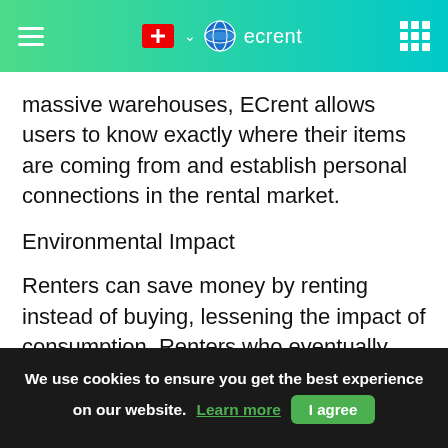ecrent
massive warehouses, ECrent allows users to know exactly where their items are coming from and establish personal connections in the rental market.
Environmental Impact
Renters can save money by renting instead of buying, lessening the impact of consumption. Renters who eventually purchase rented items are able to try before buying. Using ECrent, consumers can help battle the problem of overconsumption plaguing the world.
We use cookies to ensure you get the best experience on our website. Learn more  I agree